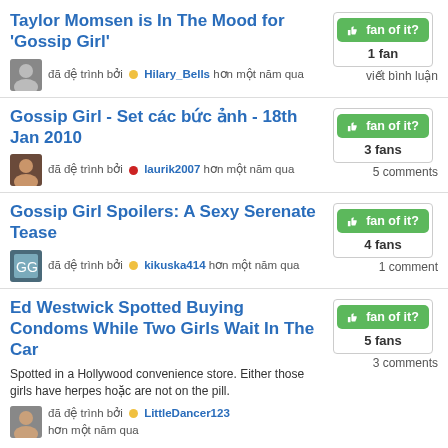Taylor Momsen is In The Mood for 'Gossip Girl'
đã đệ trình bởi Hilary_Bells hơn một năm qua
Gossip Girl - Set các bức ảnh - 18th Jan 2010
đã đệ trình bởi laurik2007 hơn một năm qua · 5 comments
Gossip Girl Spoilers: A Sexy Serenate Tease
đã đệ trình bởi kikuska414 hơn một năm qua · 1 comment
Ed Westwick Spotted Buying Condoms While Two Girls Wait In The Car
Spotted in a Hollywood convenience store. Either those girls have herpes hoặc are not on the pill.
đã đệ trình bởi LittleDancer123 hơn một năm qua